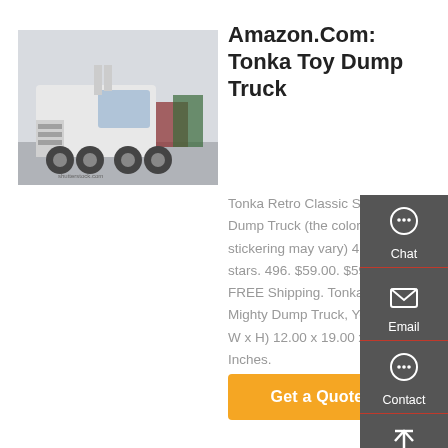[Figure (photo): Photograph of a large white semi-truck / tractor unit on a road with other trucks in background.]
Amazon.Com: Tonka Toy Dump Truck
Tonka Retro Classic Steel Mighty Dump Truck (the color of the stickering may vary) 4.8 out of 5 stars. 496. $59.00. $59. 00. FREE Shipping. Tonka Toughest Mighty Dump Truck, Yellow, (L x W x H) 12.00 x 19.00 x 10.00 Inches.
Get a Quote